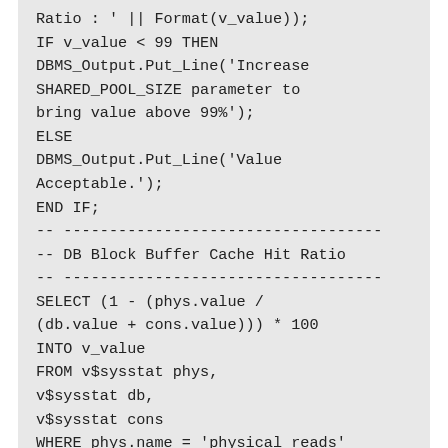Ratio : ' || Format(v_value));
IF v_value < 99 THEN
DBMS_Output.Put_Line('Increase
SHARED_POOL_SIZE parameter to
bring value above 99%');
ELSE
DBMS_Output.Put_Line('Value
Acceptable.');
END IF;
-- -----------------------------------
-- DB Block Buffer Cache Hit Ratio
-- -----------------------------------
SELECT (1 - (phys.value /
(db.value + cons.value))) * 100
INTO v_value
FROM v$sysstat phys,
v$sysstat db,
v$sysstat cons
WHERE phys.name = 'physical reads'
AND db.name = 'db block gets'
AND cons.name = 'consistent gets';
DBMS_Output.Put_Line('DB Block Buffer